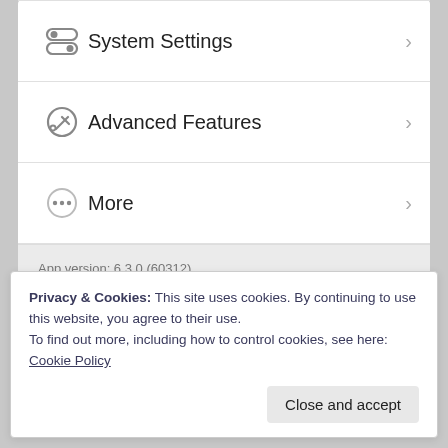System Settings
Advanced Features
More
App version: 6.3.0 (60312)
Controller version: 6.0.36
Privacy & Cookies: This site uses cookies. By continuing to use this website, you agree to their use.
To find out more, including how to control cookies, see here: Cookie Policy
Close and accept